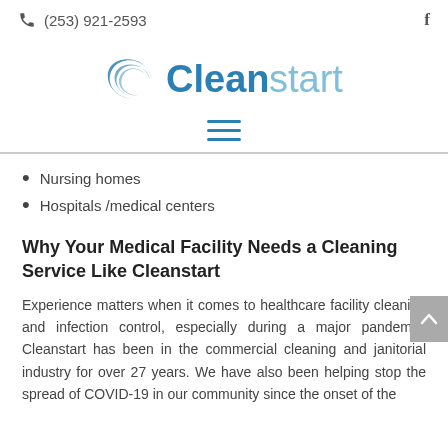(253) 921-2593
[Figure (logo): Cleanstart logo with blue swoosh and text 'Cleanstart' in teal/light blue]
[Figure (other): Hamburger menu icon (three horizontal lines)]
Nursing homes
Hospitals /medical centers
Why Your Medical Facility Needs a Cleaning Service Like Cleanstart
Experience matters when it comes to healthcare facility cleaning and infection control, especially during a major pandemic. Cleanstart has been in the commercial cleaning and janitorial industry for over 27 years. We have also been helping stop the spread of COVID-19 in our community since the onset of the